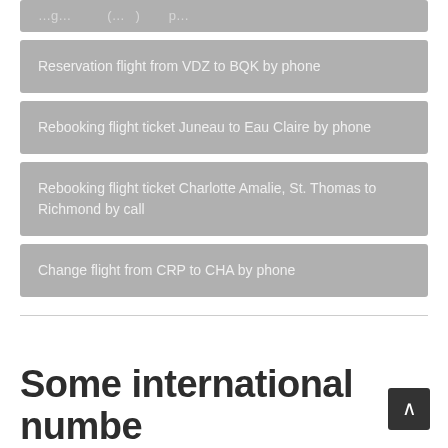Reservation flight from VDZ to BQK by phone
Rebooking flight ticket Juneau to Eau Claire by phone
Rebooking flight ticket Charlotte Amalie, St. Thomas to Richmond by call
Change flight from CRP to CHA by phone
Some international numbe